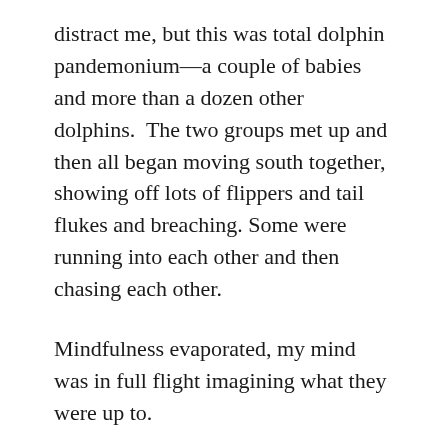distract me, but this was total dolphin pandemonium—a couple of babies and more than a dozen other dolphins.  The two groups met up and then all began moving south together, showing off lots of flippers and tail flukes and breaching. Some were running into each other and then chasing each other.
Mindfulness evaporated, my mind was in full flight imagining what they were up to.
It was almost like the adults were going back to look for the teenagers that were lagging behind.  Teenagers trying out independence and being awful about it.  I saw the eye roll one of the girl dolphins gave her mom when asked